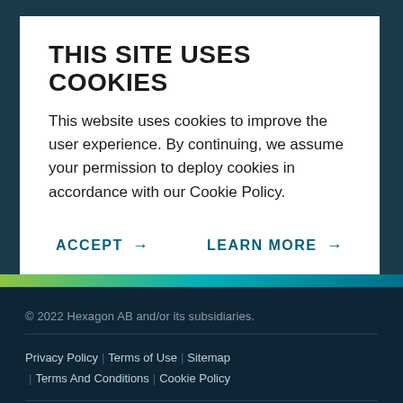THIS SITE USES COOKIES
This website uses cookies to improve the user experience. By continuing, we assume your permission to deploy cookies in accordance with our Cookie Policy.
ACCEPT →
LEARN MORE →
© 2022 Hexagon AB and/or its subsidiaries.
Privacy Policy | Terms of Use | Sitemap | Terms And Conditions | Cookie Policy